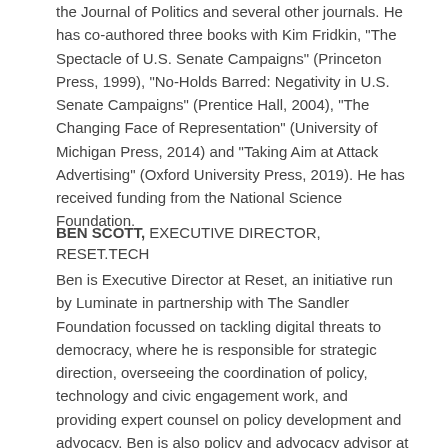the Journal of Politics and several other journals. He has co-authored three books with Kim Fridkin, "The Spectacle of U.S. Senate Campaigns" (Princeton Press, 1999), "No-Holds Barred: Negativity in U.S. Senate Campaigns" (Prentice Hall, 2004), "The Changing Face of Representation" (University of Michigan Press, 2014) and "Taking Aim at Attack Advertising" (Oxford University Press, 2019). He has received funding from the National Science Foundation.
BEN SCOTT, EXECUTIVE DIRECTOR, RESET.TECH
Ben is Executive Director at Reset, an initiative run by Luminate in partnership with The Sandler Foundation focussed on tackling digital threats to democracy, where he is responsible for strategic direction, overseeing the coordination of policy, technology and civic engagement work, and providing expert counsel on policy development and advocacy. Ben is also policy and advocacy advisor at Luminate.